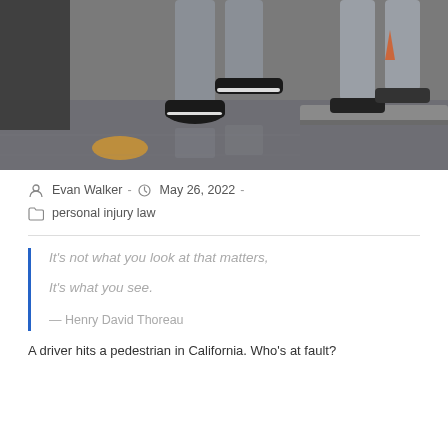[Figure (photo): Street-level photo showing legs and feet of pedestrians walking on a wet sidewalk/road, with reflections visible on the ground surface.]
Evan Walker  -  May 26, 2022  -  personal injury law
It's not what you look at that matters,

It's what you see.

— Henry David Thoreau
A driver hits a pedestrian in California. Who's at fault?